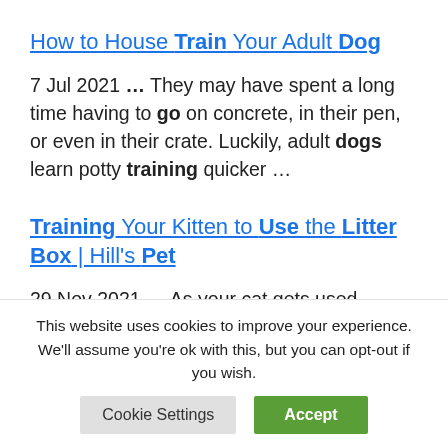How to House Train Your Adult Dog
7 Jul 2021 … They may have spent a long time having to go on concrete, in their pen, or even in their crate. Luckily, adult dogs learn potty training quicker …
Training Your Kitten to Use the Litter Box | Hill's Pet
29 Nov 2021 … As your cat gets used
This website uses cookies to improve your experience. We'll assume you're ok with this, but you can opt-out if you wish.